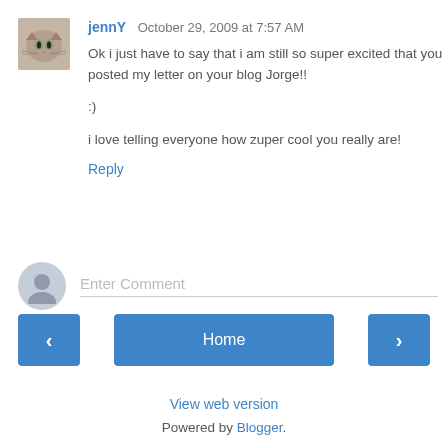jennY  October 29, 2009 at 7:57 AM
Ok i just have to say that i am still so super excited that you posted my letter on your blog Jorge!!
:)
i love telling everyone how zuper cool you really are!
Reply
Enter Comment
Home
View web version
Powered by Blogger.